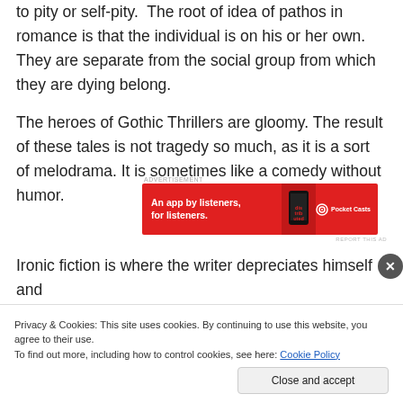to pity or self-pity.  The root of idea of pathos in romance is that the individual is on his or her own. They are separate from the social group from which they are dying belong.
The heroes of Gothic Thrillers are gloomy. The result of these tales is not tragedy so much, as it is a sort of melodrama. It is sometimes like a comedy without humor.
[Figure (infographic): Advertisement banner for Pocket Casts app. Red background with text 'An app by listeners, for listeners.' and Pocket Casts logo with phone image.]
Ironic fiction is where the writer depreciates himself and
Privacy & Cookies: This site uses cookies. By continuing to use this website, you agree to their use.
To find out more, including how to control cookies, see here: Cookie Policy